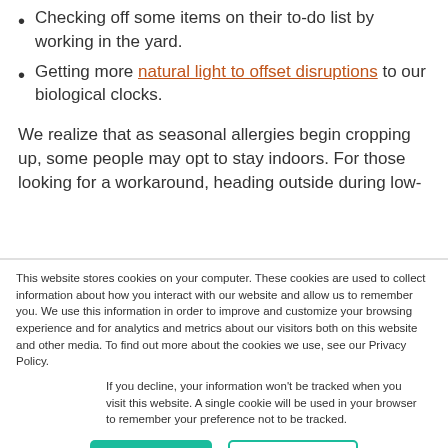Checking off some items on their to-do list by working in the yard.
Getting more natural light to offset disruptions to our biological clocks.
We realize that as seasonal allergies begin cropping up, some people may opt to stay indoors. For those looking for a workaround, heading outside during low-
This website stores cookies on your computer. These cookies are used to collect information about how you interact with our website and allow us to remember you. We use this information in order to improve and customize your browsing experience and for analytics and metrics about our visitors both on this website and other media. To find out more about the cookies we use, see our Privacy Policy.
If you decline, your information won't be tracked when you visit this website. A single cookie will be used in your browser to remember your preference not to be tracked.